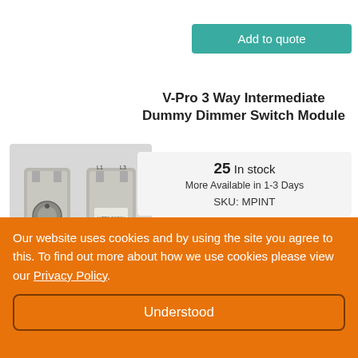[Figure (other): Teal 'Add to quote' button at top right of page]
V-Pro 3 Way Intermediate Dummy Dimmer Switch Module
[Figure (photo): Product photo of V-Pro 3 Way Intermediate Dummy Dimmer Switch Module — two grey dimmer switch modules shown side by side]
25 In stock
More Available in 1-3 Days
SKU: MPINT
£8.99
Our website uses cookies and by using the site you agree to this. To find out more about how we use cookies please view our Privacy Policy.
Understood